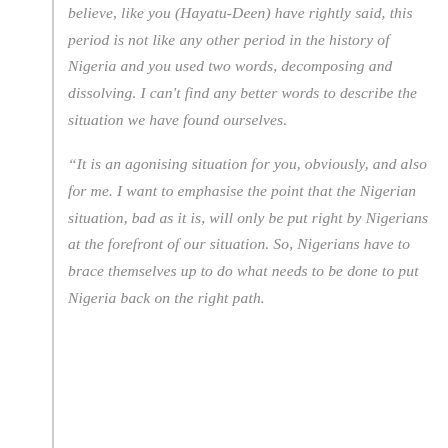believe, like you (Hayatu-Deen) have rightly said, this period is not like any other period in the history of Nigeria and you used two words, decomposing and dissolving. I can't find any better words to describe the situation we have found ourselves.
“It is an agonising situation for you, obviously, and also for me. I want to emphasise the point that the Nigerian situation, bad as it is, will only be put right by Nigerians at the forefront of our situation. So, Nigerians have to brace themselves up to do what needs to be done to put Nigeria back on the right path.